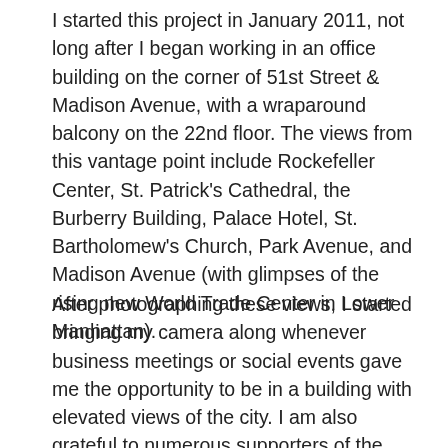I started this project in January 2011, not long after I began working in an office building on the corner of 51st Street & Madison Avenue, with a wraparound balcony on the 22nd floor. The views from this vantage point include Rockefeller Center, St. Patrick's Cathedral, the Burberry Building, Palace Hotel, St. Bartholomew's Church, Park Avenue, and Madison Avenue (with glimpses of the rising new World Trade Center in Lower Manhattan).
After photographing these views, I started bringing my camera along whenever business meetings or social events gave me the opportunity to be in a building with elevated views of the city. I am also grateful to numerous supporters of the project who offered me the opportunity to photograph their vantage points.